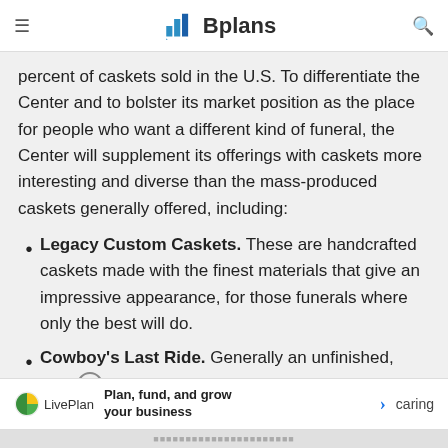Bplans
percent of caskets sold in the U.S. To differentiate the Center and to bolster its market position as the place for people who want a different kind of funeral, the Center will supplement its offerings with caskets more interesting and diverse than the mass-produced caskets generally offered, including:
Legacy Custom Caskets. These are handcrafted caskets made with the finest materials that give an impressive appearance, for those funerals where only the best will do.
Cowboy's Last Ride. Generally an unfinished, pine casket with a denim or horse blanket liner. "A
LivePlan — Plan, fund, and grow your business > caring